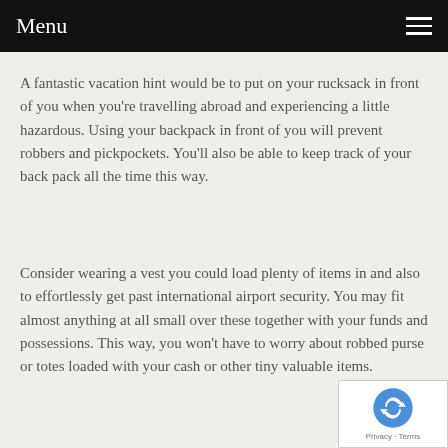Menu
A fantastic vacation hint would be to put on your rucksack in front of you when you're travelling abroad and experiencing a little hazardous. Using your backpack in front of you will prevent robbers and pickpockets. You'll also be able to keep track of your back pack all the time this way.
Consider wearing a vest you could load plenty of items in and also to effortlessly get past international airport security. You may fit almost anything at all small over these together with your funds and possessions. This way, you won't have to worry about robbed purse or totes loaded with your cash or other tiny valuable items.